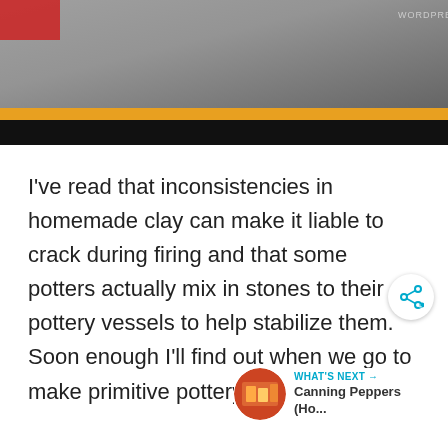[Figure (photo): Top banner image showing a rocky/stone scene with an orange/amber strip and a WordPress watermark in the upper right; the lower portion of the image area is black.]
I've read that inconsistencies in homemade clay can make it liable to crack during firing and that some potters actually mix in stones to their pottery vessels to help stabilize them. Soon enough I'll find out when we go to make primitive pottery.
[Figure (illustration): Share button icon (circular white button with share/network icon in teal)]
WHAT'S NEXT → Canning Peppers (Ho...